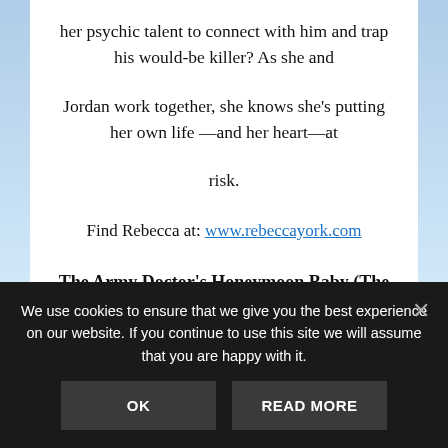her psychic talent to connect with him and trap his would-be killer? As she and

Jordan work together, she knows she's putting her own life —and her heart—at

risk.
Find Rebecca at: www.rebeccayork.com
The Army Doctor's Honeymoon Baby (The Army Doctor's
We use cookies to ensure that we give you the best experience on our website. If you continue to use this site we will assume that you are happy with it.